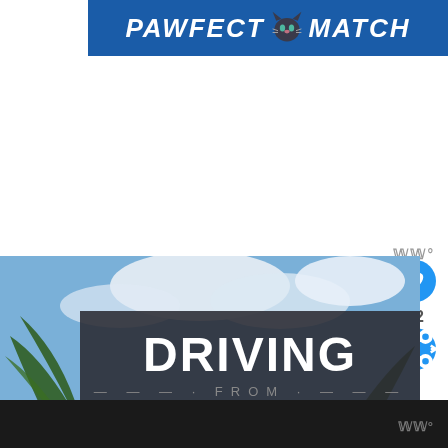[Figure (logo): Pawfect Match logo banner with white bold italic text on blue background and cat face icon]
[Figure (photo): Travel blog article thumbnail image showing text overlay 'DRIVING FROM LOS ANGELES TO LAS VEGAS' in bold white text on dark semi-transparent background, with blue sky and palm trees in background. Social media UI elements visible: heart/like button (blue circle with heart, count '2') and share button (blue circle with share icon). WW° watermark visible in corner.]